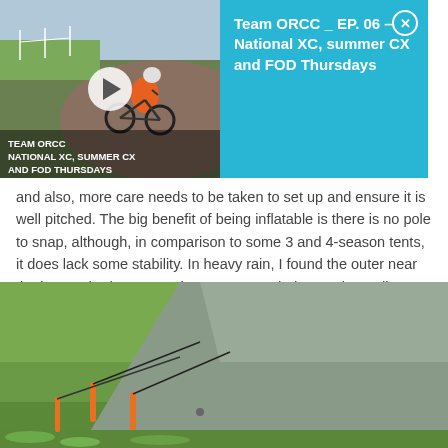[Figure (screenshot): Video thumbnail overlay showing a mountain bike cyclist on a dirt track with a cyan/teal info panel on the right displaying the episode title 'Team ORCC _ EP. 06 – National XC, summer CX and FOD Thursdays']
and also, more care needs to be taken to set up and ensure it is well pitched. The big benefit of being inflatable is there is no pole to snap, although, in comparison to some 3 and 4-season tents, it does lack some stability. In heavy rain, I found the outer near the bottom had an area where water tended to pool, needing some adjustment of the rear pole and guy ropes to prevent or at least ease the problem.
[Figure (photo): Photo of a green/grey tent pitched on grass, showing the lower portion with orange guy rope stakes and black guy ropes attached to the tent flysheet]